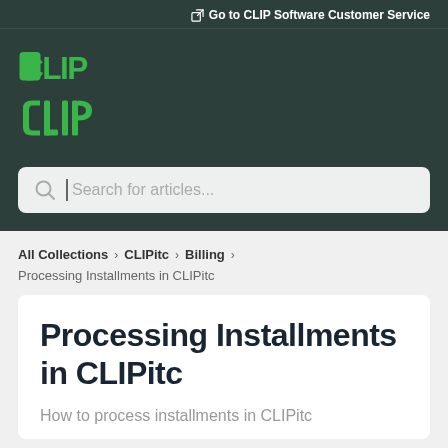Go to CLIP Software Customer Service
[Figure (logo): CLIP software logo in green on dark background]
Search for articles...
All Collections > CLIPitc > Billing
Processing Installments in CLIPitc
Processing Installments in CLIPitc
How to process installments in CLIPitc